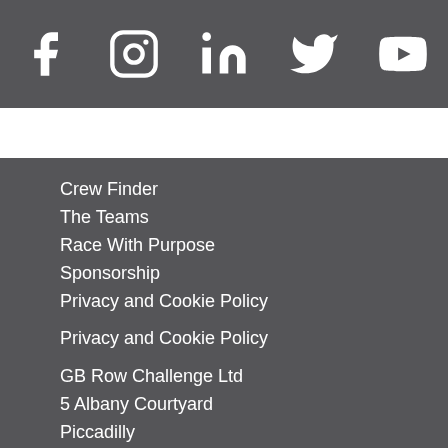[Figure (illustration): Social media icons row: Facebook, Instagram, LinkedIn, Twitter, YouTube — all white on dark grey background]
Crew Finder
The Teams
Race With Purpose
Sponsorship
Privacy and Cookie Policy
Privacy and Cookie Policy
GB Row Challenge Ltd
5 Albany Courtyard
Piccadilly